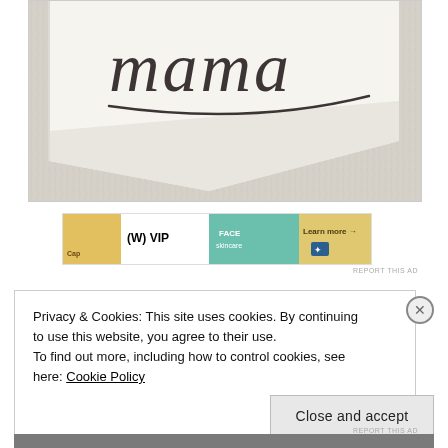[Figure (photo): Close-up photo of a white pillow with cursive script text on a fluffy fur/shag rug background]
[Figure (screenshot): Advertisement banner showing Wix VIP and beauty/skincare products with 'Learn more' call to action]
REPORT THIS AD
Privacy & Cookies: This site uses cookies. By continuing to use this website, you agree to their use.
To find out more, including how to control cookies, see here: Cookie Policy
Close and accept
REPORT THIS AD